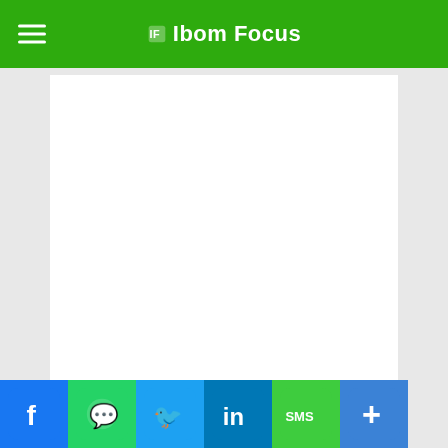Ibom Focus
[Figure (other): White blank advertisement or image placeholder area inside white card]
The strike on the building housing media offices came in the afternoon after the owner received a call from the Israeli military warning that the building would be hit. A P's staff and others in the d w te n ately and were reported f
[Figure (other): Social share bar with Facebook, WhatsApp, Twitter, LinkedIn, SMS, and More buttons]